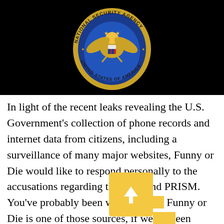[Figure (logo): NSA (National Security Agency) seal/logo on black background. Gold eagle emblem with blue circular seal reading 'National Security Agency' and 'United States of America'.]
In light of the recent leaks revealing the U.S. Government's collection of phone records and internet data from citizens, including a surveillance of many major websites, Funny or Die would like to respond personally to the accusations regarding the NSA and PRISM. You've probably been wondering if Funny or Die is one of those sources, if we've been collecting your personal information and tracking your every move. The answer is...Yes. Yes, we have. For the last six years, we've watched you and recorded each and every time you voted "funny"